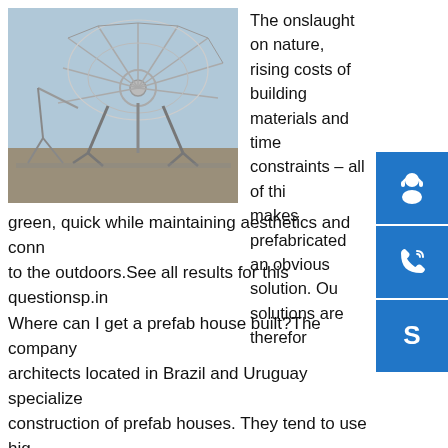[Figure (photo): Prefabricated metal structure framework construction, showing large steel trusses and lattice elements outdoors]
The onslaught on nature, rising costs of building materials and time constraints – all of this makes prefabricated an obvious solution. Our solutions are therefore green, quick while maintaining aesthetics and connectivity to the outdoors.See all results for this questionsp.info Where can I get a prefab house built?The company of architects located in Brazil and Uruguay specializes in the construction of prefab houses. They tend to use high quality materials and they do custom designs depending on the customer's need.See all results for this questionsp.info Cement Panel Cabins Movable Prefabricated House by ...Buy Movable Prefabricated House from Fibrecrafts India Find Company contact details & address in Pune, Maharashtra | ID: 5227876sp.info 50 Prefab Home Designs -
[Figure (infographic): Blue sidebar icons: headset/support icon, phone icon, Skype icon]